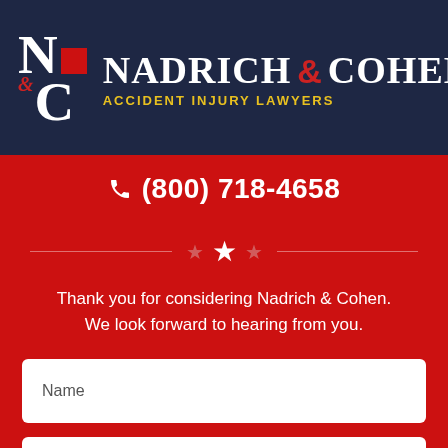[Figure (logo): Nadrich & Cohen Accident Injury Lawyers logo with N&C emblem on dark navy header bar with hamburger menu button]
☎ (800) 718-4658
Thank you for considering Nadrich & Cohen. We look forward to hearing from you.
Name
Email
Phone